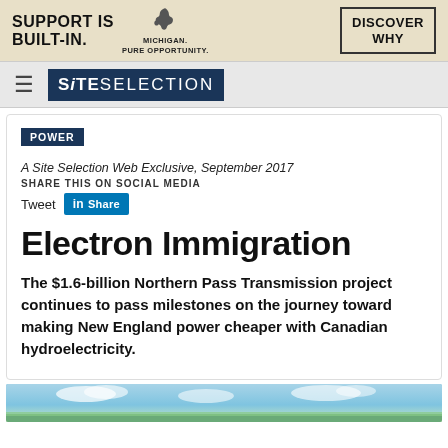[Figure (infographic): Michigan advertisement banner: 'SUPPORT IS BUILT-IN.' with Michigan state silhouette, 'MICHIGAN. PURE OPPORTUNITY.' text, and 'DISCOVER WHY' button]
SITE SELECTION
POWER
A Site Selection Web Exclusive, September 2017
SHARE THIS ON SOCIAL MEDIA
Tweet  in Share
Electron Immigration
The $1.6-billion Northern Pass Transmission project continues to pass milestones on the journey toward making New England power cheaper with Canadian hydroelectricity.
[Figure (photo): Partial view of a landscape photo with sky and green fields at the bottom of the page]